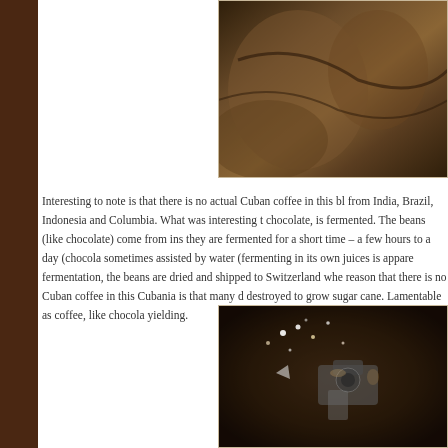[Figure (photo): Photograph of coffee or chocolate sacks/burlap bags, dark sepia tones, top right of page]
Interesting to note is that there is no actual Cuban coffee in this bl from India, Brazil, Indonesia and Columbia. What was interesting t chocolate, is fermented. The beans (like chocolate) come from ins they are fermented for a short time – a few hours to a day (chocola sometimes assisted by water (fermenting in its own juices is appare fermentation, the beans are dried and shipped to Switzerland whe reason that there is no Cuban coffee in this Cubania is that many d destroyed to grow sugar cane. Lamentable as coffee, like chocola yielding.
[Figure (photo): Dark photograph of coffee roasting or espresso machine equipment with pinpoint lights visible, bottom right of page]